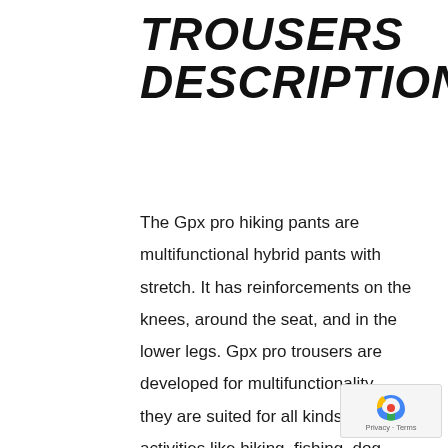TROUSERS DESCRIPTION
The Gpx pro hiking pants are multifunctional hybrid pants with stretch. It has reinforcements on the knees, around the seat, and in the lower legs. Gpx pro trousers are developed for multifunctionality, they are suited for all kinds of activities like hiking, fishing, dog training, climbing, and sailing. The reinforcements in Hypershell® are both wind and water-resistant, the stretch panels ventilate and are designed to offer incredible comfort. The knees are also fitted